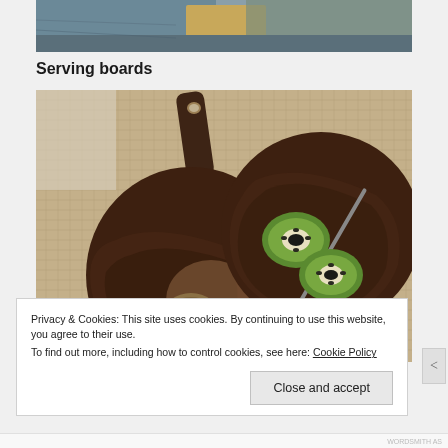[Figure (photo): Partial top portion of a photo showing wooden cutting/serving boards on a blue/gray background]
Serving boards
[Figure (photo): Two round dark walnut wood serving boards with handles and hole cutouts, placed on burlap/hessian fabric. Left board has a whole kiwi fruit, right board has two halved kiwi fruits and a knife. Another whole kiwi is visible at bottom right.]
Privacy & Cookies: This site uses cookies. By continuing to use this website, you agree to their use.
To find out more, including how to control cookies, see here: Cookie Policy
Close and accept